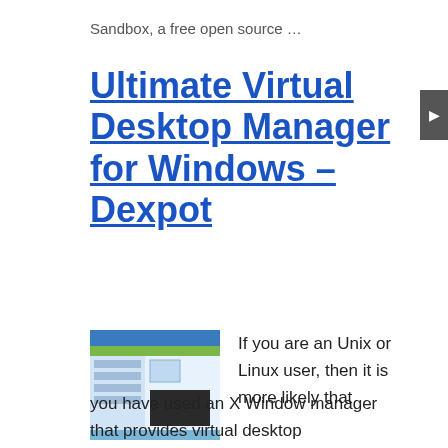Sandbox, a free open source …
Ultimate Virtual Desktop Manager for Windows – Dexpot
[Figure (screenshot): Thumbnail screenshot of a virtual desktop manager interface showing a grid of desktop windows with blue and grey color scheme.]
If you are an Unix or Linux user, then it is more likely that you have used an X Window manager that provides virtual desktop